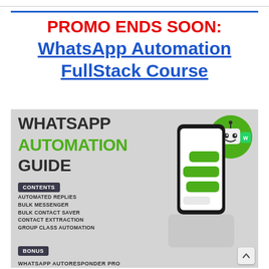PROMO ENDS SOON: WhatsApp Automation FullStack Course
[Figure (illustration): WhatsApp Automation Guide promotional banner showing a robot mascot in a green circle, a smartphone with green WhatsApp-style message bubbles, and a list of course contents: AUTOMATED REPLIES, BULK MESSENGER, BULK CONTACT SAVER, CONTACT EXTTRACTION, GROUP CLASS AUTOMATION. BONUS section visible. WHATSAPP AUTORESPONDER PRO text at bottom.]